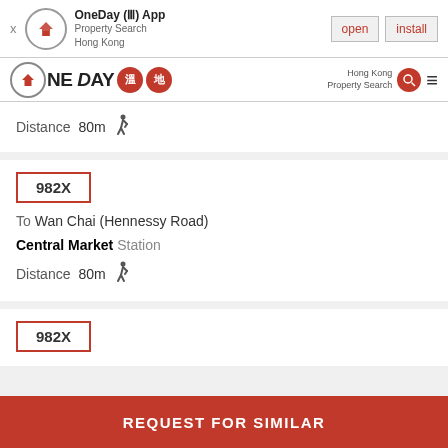[Figure (screenshot): App install banner for OneDay (III) App - Property Search Hong Kong, with open and install buttons]
[Figure (logo): OneDay property search app navigation bar with logo, Hong Kong Property Search text, search icon, and hamburger menu]
Distance 80m (walking icon)
982X
To Wan Chai (Hennessy Road)
Central Market Station
Distance 80m (walking icon)
982X
REQUEST FOR SIMILAR